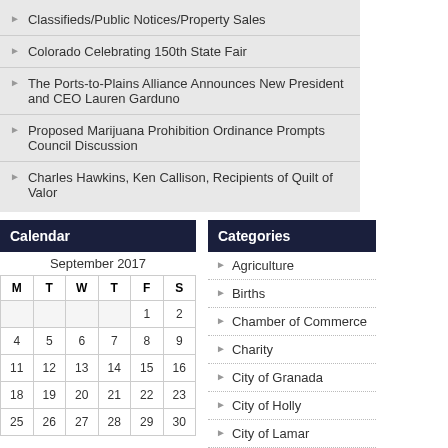Classifieds/Public Notices/Property Sales
Colorado Celebrating 150th State Fair
The Ports-to-Plains Alliance Announces New President and CEO Lauren Garduno
Proposed Marijuana Prohibition Ordinance Prompts Council Discussion
Charles Hawkins, Ken Callison, Recipients of Quilt of Valor
Calendar
| M | T | W | T | F | S |
| --- | --- | --- | --- | --- | --- |
|  |  |  |  | 1 | 2 |
| 4 | 5 | 6 | 7 | 8 | 9 |
| 11 | 12 | 13 | 14 | 15 | 16 |
| 18 | 19 | 20 | 21 | 22 | 23 |
| 25 | 26 | 27 | 28 | 29 | 30 |
Categories
Agriculture
Births
Chamber of Commerce
Charity
City of Granada
City of Holly
City of Lamar
City of Wiley